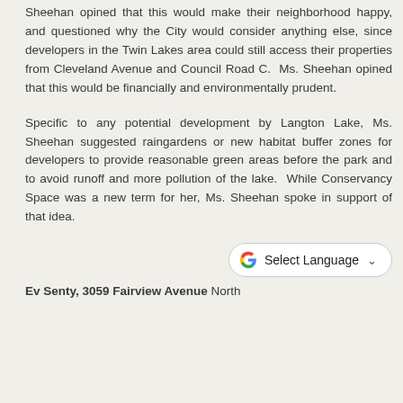Sheehan opined that this would make their neighborhood happy, and questioned why the City would consider anything else, since developers in the Twin Lakes area could still access their properties from Cleveland Avenue and Council Road C.  Ms. Sheehan opined that this would be financially and environmentally prudent.
Specific to any potential development by Langton Lake, Ms. Sheehan suggested raingardens or new habitat buffer zones for developers to provide reasonable green areas before the park and to avoid runoff and more pollution of the lake.  While Conservancy Space was a new term for her, Ms. Sheehan spoke in support of that idea.
[Figure (other): Google 'Select Language' dropdown button with Google G logo]
Ev Senty, 3059 Fairview Avenue North